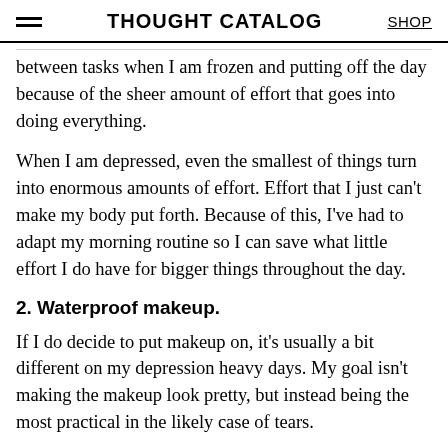THOUGHT CATALOG | SHOP
between tasks when I am frozen and putting off the day because of the sheer amount of effort that goes into doing everything.
When I am depressed, even the smallest of things turn into enormous amounts of effort. Effort that I just can't make my body put forth. Because of this, I've had to adapt my morning routine so I can save what little effort I do have for bigger things throughout the day.
2. Waterproof makeup.
If I do decide to put makeup on, it's usually a bit different on my depression heavy days. My goal isn't making the makeup look pretty, but instead being the most practical in the likely case of tears.